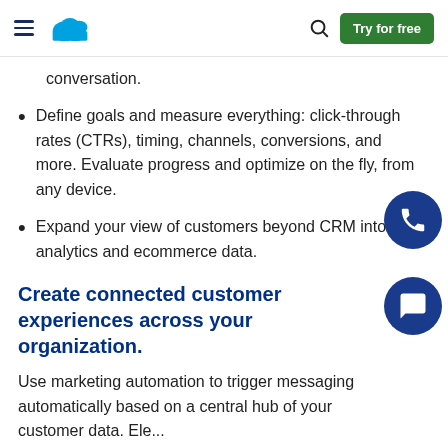Salesforce navigation bar with hamburger menu, cloud logo, search icon, and Try for free button
conversation.
Define goals and measure everything: click-through rates (CTRs), timing, channels, conversions, and more. Evaluate progress and optimize on the fly, from any device.
Expand your view of customers beyond CRM into web analytics and ecommerce data.
Create connected customer experiences across your organization.
Use marketing automation to trigger messaging automatically based on a central hub of your customer data. Ele...